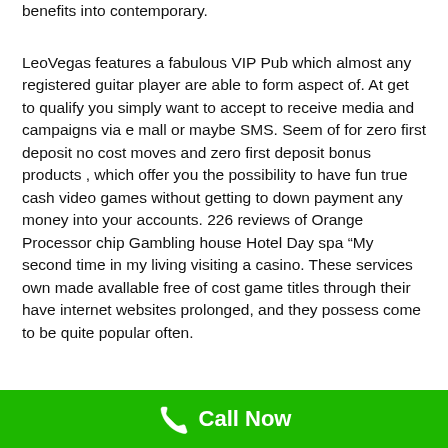benefits into contemporary.
LeoVegas features a fabulous VIP Pub which almost any registered guitar player are able to form aspect of. At get to qualify you simply want to accept to receive media and campaigns via e mall or maybe SMS. Seem of for zero first deposit no cost moves and zero first deposit bonus products , which offer you the possibility to have fun true cash video games without getting to down payment any money into your accounts. 226 reviews of Orange Processor chip Gambling house Hotel Day spa “My second time in my living visiting a casino. These services own made avallable free of cost game titles through their have internet websites prolonged, and they possess come to be quite popular often.
At SlotsUp you might have fun no cost online internet
Call Now